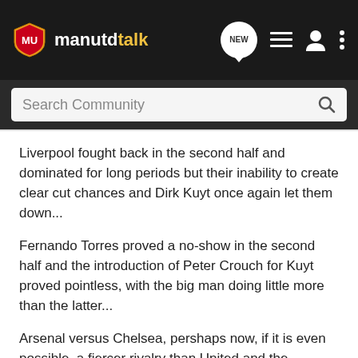manutdtalk
Liverpool fought back in the second half and dominated for long periods but their inability to create clear cut chances and Dirk Kuyt once again let them down...
Fernando Torres proved a no-show in the second half and the introduction of Peter Crouch for Kuyt proved pointless, with the big man doing little more than the latter...
Arsenal versus Chelsea, pershaps now, if it is even possible, a fiercer rivalry than United and the scum.....
This match turned into a fantastic game, not only the great